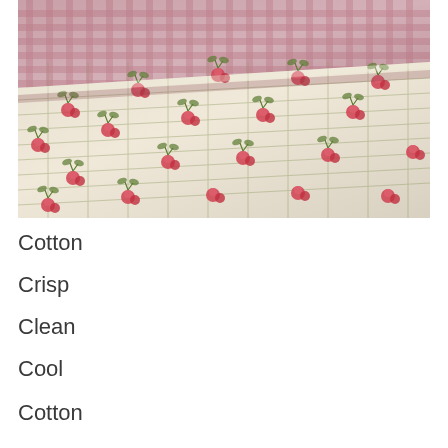[Figure (photo): Stacked folded cotton fabric pieces with floral and gingham patterns in red, pink, white and green colors, photographed close-up on a light surface.]
Cotton
Crisp
Clean
Cool
Cotton